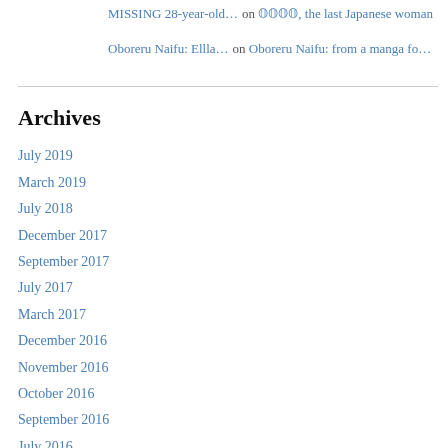MISSING 28-year-old… on 𝕆𝕆𝕆𝕆, the last Japanese woman
Oboreru Naifu: Ellla… on Oboreru Naifu: from a manga fo…
Archives
July 2019
March 2019
July 2018
December 2017
September 2017
July 2017
March 2017
December 2016
November 2016
October 2016
September 2016
July 2016